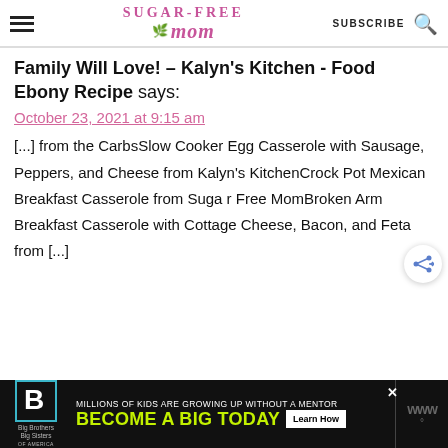Sugar-Free Mom — SUBSCRIBE [search icon]
Family Will Love! – Kalyn's Kitchen - Food Ebony Recipe says:
October 23, 2021 at 9:15 am
[...] from the CarbsSlow Cooker Egg Casserole with Sausage, Peppers, and Cheese from Kalyn's KitchenCrock Pot Mexican Breakfast Casserole from Sugar Free MomBroken Arm Breakfast Casserole with Cottage Cheese, Bacon, and Feta from [...]
[Figure (other): Advertisement banner: Big Brothers Big Sisters logo. Text: MILLIONS OF KIDS ARE GROWING UP WITHOUT A MENTOR. BECOME A BIG TODAY. Learn How button.]